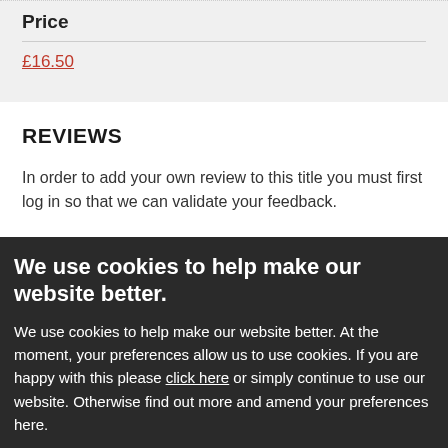Price
£16.50
REVIEWS
In order to add your own review to this title you must first log in so that we can validate your feedback.
[Figure (other): Social sharing buttons: red, blue, dark blue, purple]
We use cookies to help make our website better.
We use cookies to help make our website better. At the moment, your preferences allow us to use cookies. If you are happy with this please click here or simply continue to use our website. Otherwise find out more and amend your preferences here.